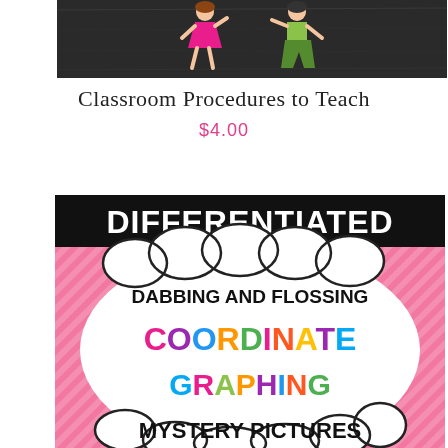[Figure (illustration): Chalkboard background with cartoon figures of a girl in pink dress and a figure in green, appearing to dance. Dark chalkboard-style background.]
Classroom Procedures to Teach
$4.00
[Figure (illustration): Educational product cover image. Black banner at top reads DIFFERENTIATED in bold white text. Pink diagonal striped background with a large white cloud speech bubble containing text: DABBING AND FLOSSING COORDINATE GRAPHING MYSTERY PICTURES in colorful lettering.]